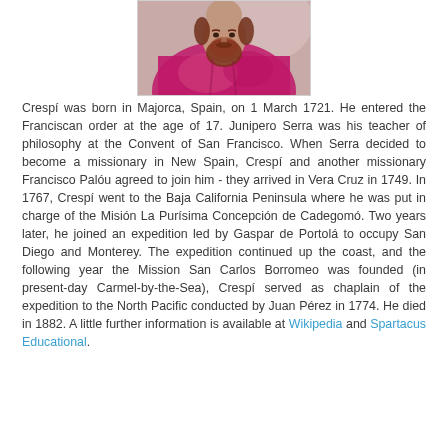[Figure (photo): Portrait painting of Juan Crespí, a bearded man in pink/magenta religious robes, partially cropped at top of page]
Crespí was born in Majorca, Spain, on 1 March 1721. He entered the Franciscan order at the age of 17. Junipero Serra was his teacher of philosophy at the Convent of San Francisco. When Serra decided to become a missionary in New Spain, Crespí and another missionary Francisco Palóu agreed to join him - they arrived in Vera Cruz in 1749. In 1767, Crespí went to the Baja California Peninsula where he was put in charge of the Misión La Purísima Concepción de Cadegomó. Two years later, he joined an expedition led by Gaspar de Portolá to occupy San Diego and Monterey. The expedition continued up the coast, and the following year the Mission San Carlos Borromeo was founded (in present-day Carmel-by-the-Sea), Crespí served as chaplain of the expedition to the North Pacific conducted by Juan Pérez in 1774. He died in 1882. A little further information is available at Wikipedia and Spartacus Educational.